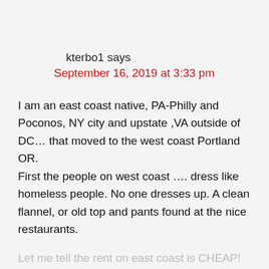kterbo1 says
September 16, 2019 at 3:33 pm
I am an east coast native, PA-Philly and Poconos, NY city and upstate ,VA outside of DC… that moved to the west coast Portland OR.
First the people on west coast …. dress like homeless people. No one dresses up. A clean flannel, or old top and pants found at the nice restaurants.
Let me tell the rent on east coast is CHEAP! compared to Portland, OR!